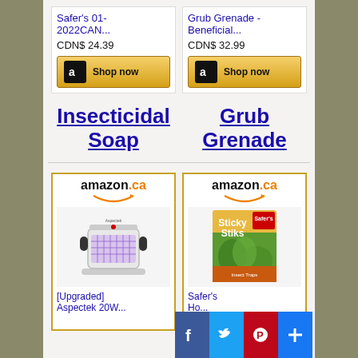Safer's 01-2022CAN...
CDN$ 24.39
Shop now
Grub Grenade - Beneficial...
CDN$ 32.99
Shop now
Insecticidal Soap
Grub Grenade
[Figure (screenshot): Amazon.ca product card showing a bug zapper (Aspectek 20W)]
[Upgraded] Aspectek 20W...
[Figure (screenshot): Amazon.ca product card showing Safer's Sticky Stiks]
Safer's Ho...
CD...
[Figure (infographic): Social media share buttons: Facebook, Twitter, Pinterest, and a plus/share button]